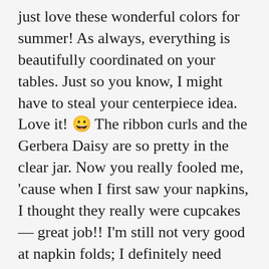just love these wonderful colors for summer! As always, everything is beautifully coordinated on your tables. Just so you know, I might have to steal your centerpiece idea. Love it! 😀 The ribbon curls and the Gerbera Daisy are so pretty in the clear jar. Now you really fooled me, 'cause when I first saw your napkins, I thought they really were cupcakes — great job!! I'm still not very good at napkin folds; I definitely need some practice at that.
Last, but not least Alycia, those paper lanterns are beautiful and so festive! You've given us all some great ideas for summer party ideas — for kids of ALL